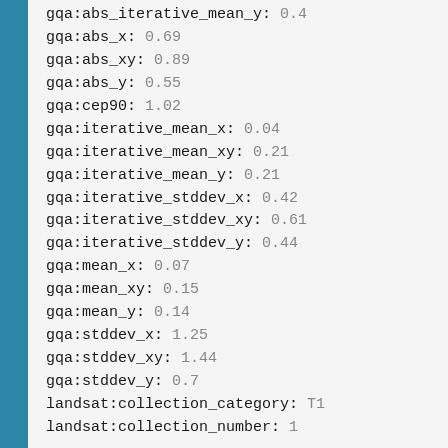gqa:abs_iterative_mean_y: 0.4
gqa:abs_x: 0.69
gqa:abs_xy: 0.89
gqa:abs_y: 0.55
gqa:cep90: 1.02
gqa:iterative_mean_x: 0.04
gqa:iterative_mean_xy: 0.21
gqa:iterative_mean_y: 0.21
gqa:iterative_stddev_x: 0.42
gqa:iterative_stddev_xy: 0.61
gqa:iterative_stddev_y: 0.44
gqa:mean_x: 0.07
gqa:mean_xy: 0.15
gqa:mean_y: 0.14
gqa:stddev_x: 1.25
gqa:stddev_xy: 1.44
gqa:stddev_y: 0.7
landsat:collection_category: T1
landsat:collection_number: 1